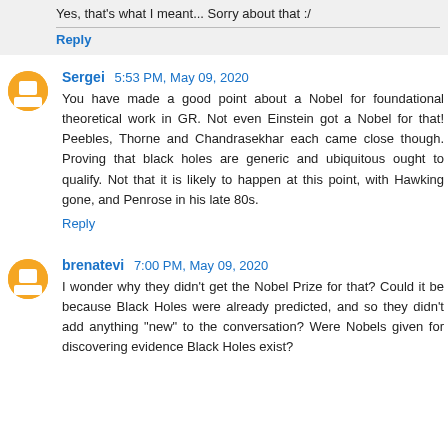Yes, that's what I meant... Sorry about that :/
Reply
Sergei  5:53 PM, May 09, 2020
You have made a good point about a Nobel for foundational theoretical work in GR. Not even Einstein got a Nobel for that! Peebles, Thorne and Chandrasekhar each came close though. Proving that black holes are generic and ubiquitous ought to qualify. Not that it is likely to happen at this point, with Hawking gone, and Penrose in his late 80s.
Reply
brenatevi  7:00 PM, May 09, 2020
I wonder why they didn't get the Nobel Prize for that? Could it be because Black Holes were already predicted, and so they didn't add anything "new" to the conversation? Were Nobels given for discovering evidence Black Holes exist?